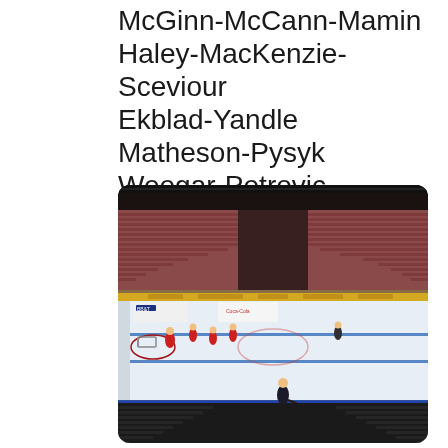McGinn-McCann-Mamin
Haley-MacKenzie-Sceviour
Ekblad-Yandle
Matheson-Pysyk
Weegar-Petrovic
Sateri
[Figure (photo): Hockey arena interior during practice session. Empty seats visible in the background (upper bowl with reddish/brown seats, lower bowl with dark seats). Several players in red jerseys and one in dark jersey are on the ice near the goal. One player in dark gear is in the foreground on the ice. Boards have sponsor advertising including BB&T and Coca-Cola visible.]